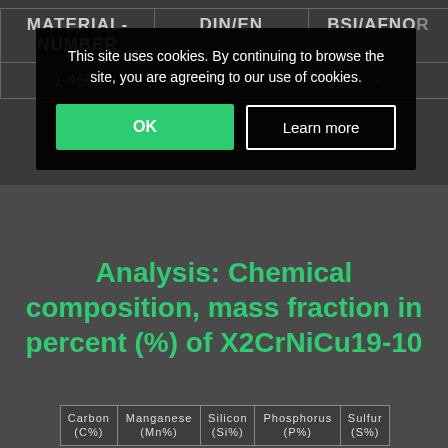| MATERIAL-NUMBER | DIN/EN | BSI/AFNOR |
| --- | --- | --- |
| 1.4650 | X2CrNiCu19-... | - |
This site uses cookies. By continuing to browse the site, you are agreeing to our use of cookies.
Analysis: Chemical composition, mass fraction in percent (%) of X2CrNiCu19-10
| Carbon (C%) | Manganese (Mn%) | Silicon (Si%) | Phosphorus (P%) | Sulfur (S%) |
| --- | --- | --- | --- | --- |